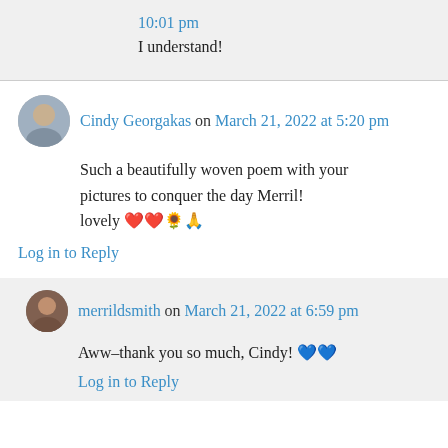10:01 pm
I understand!
Cindy Georgakas on March 21, 2022 at 5:20 pm
Such a beautifully woven poem with your pictures to conquer the day Merril! lovely ❤️❤️🌻🙏
Log in to Reply
merrildsmith on March 21, 2022 at 6:59 pm
Aww–thank you so much, Cindy! 💙💙
Log in to Reply